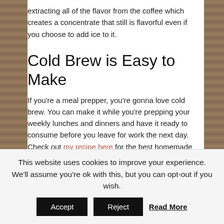extracting all of the flavor from the coffee which creates a concentrate that still is flavorful even if you choose to add ice to it.
Cold Brew is Easy to Make
If you’re a meal prepper, you’re gonna love cold brew. You can make it while you’re prepping your weekly lunches and dinners and have it ready to consume before you leave for work the next day. Check out my recipe here for the best homemade cold brew!
No Loss on Caffeine
This website uses cookies to improve your experience. We’ll assume you’re ok with this, but you can opt-out if you wish.